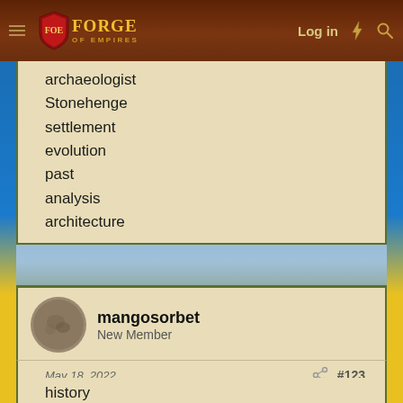Forge of Empires — Log in
archaeologist
Stonehenge
settlement
evolution
past
analysis
architecture
mangosorbet
New Member
May 18, 2022   #123
history
civilization
anthropology
excavation
archeology
geology
artifact